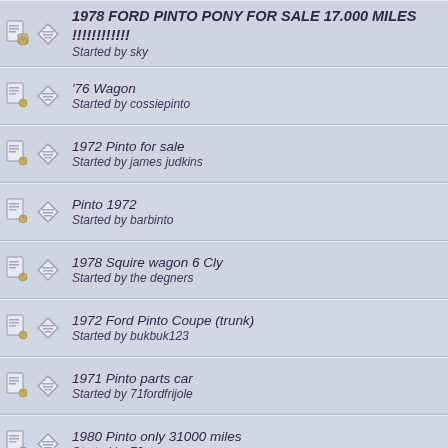1978 FORD PINTO PONY FOR SALE 17.000 MILES !!!!!!!!!!!!
Started by sky
'76 Wagon
Started by cossiepinto
1972 Pinto for sale
Started by james judkins
Pinto 1972
Started by barbinto
1978 Squire wagon 6 Cly
Started by the degners
1972 Ford Pinto Coupe (trunk)
Started by bukbuk123
1971 Pinto parts car
Started by 71fordfrijole
1980 Pinto only 31000 miles
Started by 70stang
1977 Mercury Bobcat
Started by 1977Bobcat